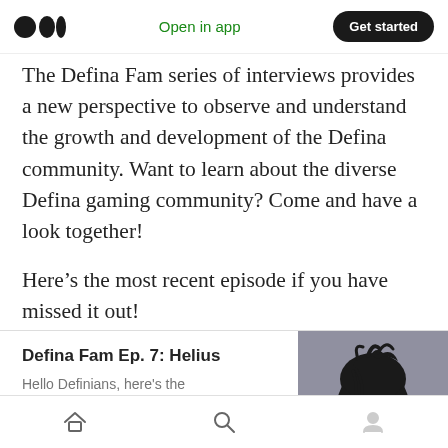Open in app | Get started
The Defina Fam series of interviews provides a new perspective to observe and understand the growth and development of the Defina community. Want to learn about the diverse Defina gaming community? Come and have a look together!
Here’s the most recent episode if you have missed it out!
[Figure (illustration): Card preview showing Defina Fam Ep. 7: Helius article with anime-style character illustration of a dark-haired person]
Home | Search | Profile